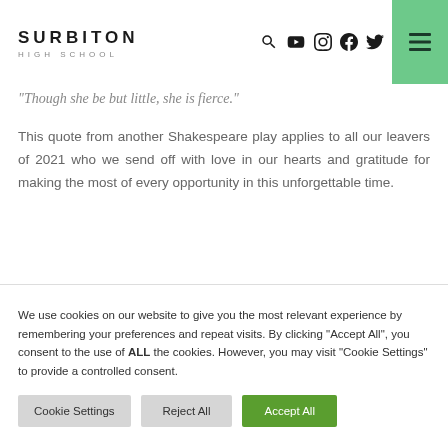SURBITON HIGH SCHOOL
"Though she be but little, she is fierce."
This quote from another Shakespeare play applies to all our leavers of 2021 who we send off with love in our hearts and gratitude for making the most of every opportunity in this unforgettable time.
We use cookies on our website to give you the most relevant experience by remembering your preferences and repeat visits. By clicking "Accept All", you consent to the use of ALL the cookies. However, you may visit "Cookie Settings" to provide a controlled consent.